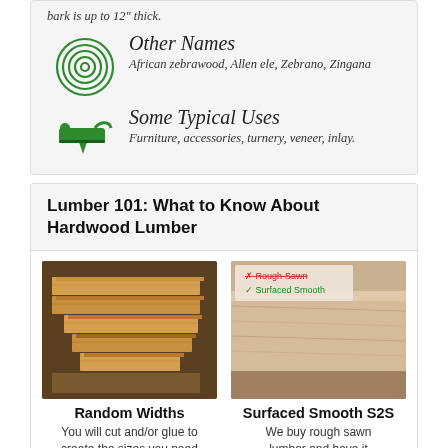bark is up to 12" thick.
Other Names
African zebrawood, Allen ele, Zebrano, Zingana
Some Typical Uses
Furniture, accessories, turnery, veneer, inlay.
Lumber 101: What to Know About Hardwood Lumber
[Figure (photo): Stack of hardwood lumber boards in varying sizes on a table]
Random Widths
You will cut and/or glue to create the sizes you need
[Figure (photo): Two pieces of lumber - one labeled Rough-Sawn (crossed out) and one labeled Surfaced Smooth (checked)]
Surfaced Smooth S2S
We buy rough sawn lumber and have it surfaced 2 sides (S2S) so